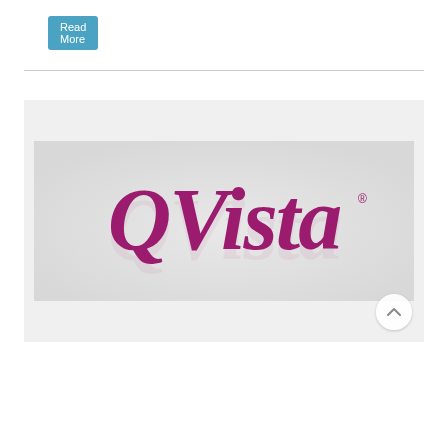Read More
[Figure (logo): QVista logo: the word 'QVista' in large bold italic magenta/purple script font on a light gray background]
How to Streamline Traffic in